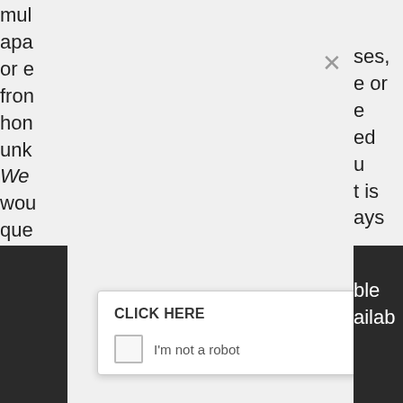mul
apa
or e
fron
hon
unk
We
wou
que
war
imp
you
eac
ses,
e or
e
ed
u
t is
ays
[Figure (screenshot): reCAPTCHA modal dialog with 'CLICK HERE', checkbox, 'I'm not a robot', reCAPTCHA logo, Privacy - Terms]
ble
ailab